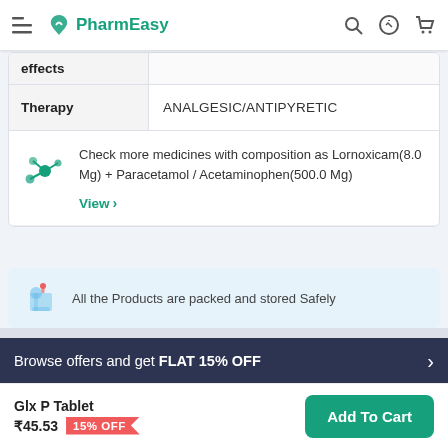PharmEasy
|  |  |
| --- | --- |
| effects |  |
| Therapy | ANALGESIC/ANTIPYRETIC |
Check more medicines with composition as Lornoxicam(8.0 Mg) + Paracetamol / Acetaminophen(500.0 Mg)
View >
All the Products are packed and stored Safely
Browse offers and get FLAT 15% OFF
Glx P Tablet ₹45.53 15% OFF
Add To Cart